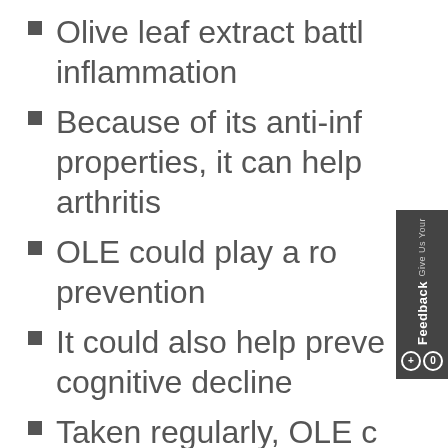Olive leaf extract battles inflammation
Because of its anti-inflammatory properties, it can help arthritis
OLE could play a role in cancer prevention
It could also help prevent cognitive decline
Taken regularly, OLE can lower your blood pressure
It's good for heart health